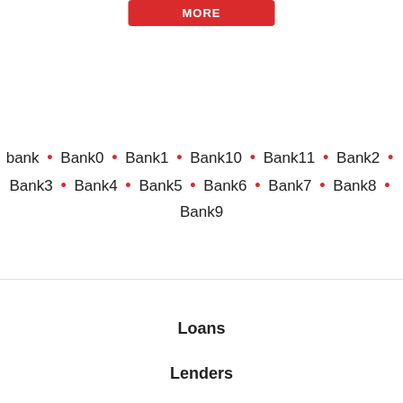[Figure (other): Red button at top of page]
bank • Bank0 • Bank1 • Bank10 • Bank11 • Bank2 • Bank3 • Bank4 • Bank5 • Bank6 • Bank7 • Bank8 • Bank9
Loans
Lenders